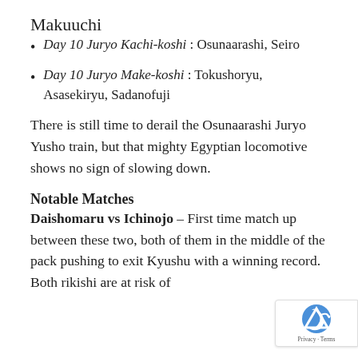Makuuchi
Day 10 Juryo Kachi-koshi : Osunaarashi, Seiro
Day 10 Juryo Make-koshi : Tokushoryu, Asasekiryu, Sadanofuji
There is still time to derail the Osunaarashi Juryo Yusho train, but that mighty Egyptian locomotive shows no sign of slowing down.
Notable Matches
Daishomaru vs Ichinojo – First time match up between these two, both of them in the middle of the pack pushing to exit Kyushu with a winning record. Both rikishi are at risk of ...